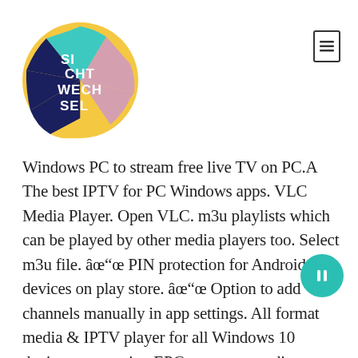[Figure (logo): Sichtwechsel circular logo with colorful segments (yellow, teal, navy, pink) and white text reading SI CHT WECH SEL]
[Figure (other): Hamburger/menu icon: small rectangle outline with three horizontal lines inside, top right corner]
Windows PC to stream free live TV on PC.A The best IPTV for PC Windows apps. VLC Media Player. Open VLC. m3u playlists which can be played by other media players too. Select m3u file. â✓✓ PIN protection for Android devices on play store. â✓✓ Option to add channels manually in app settings. All format media & IPTV player for all Windows 10 devices, supporting EPG, screen recording, DLNA, Live TV (M3U playlists), ALL VIDEO formats with any format local or online subtitles, ALL AUDIO formats and almost all streaming protocols, with an embedded file manager for editing files & creating playlists of local, network or … An M3U file is an Audio Playlist that it plays on a standard ...
[Figure (other): Teal/turquoise circular button with pause icon, positioned lower right]